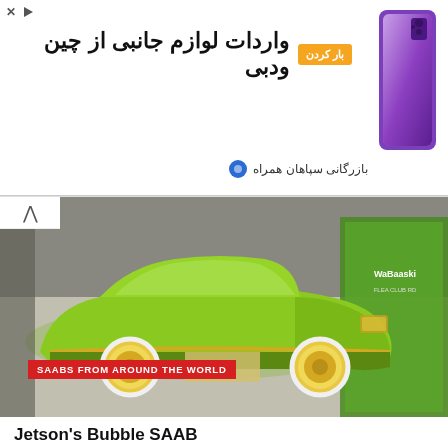[Figure (infographic): Advertisement banner for importing accessories from China and Dubai. Shows Persian (Farsi) text 'واردات لوازم جانبی از چین ودبی' (Import accessories from China and Dubai), an orange button labeled 'بار کردن', a purple smartphone image on the right, and a subtext 'بازرگانی سپاهان همراه'.]
[Figure (photo): A bright lime/yellow-green custom show car (Jetson's Bubble SAAB), a heavily customized low-rider style vehicle with white-wall tires and gold wheel covers, displayed indoors at what appears to be a car show. A green sign/banner is visible on the right side. A red overlay label reads 'SAABS FROM AROUND THE WORLD'.]
Jetson's Bubble SAAB
August 24, 2022
[Figure (photo): Partial view of a second car show article image showing an outdoor parking lot or car show venue with trees, parked cars, tents/canopies, and brick buildings in the background.]